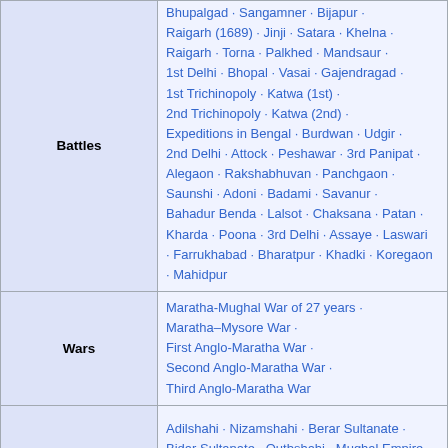| Category | Items |
| --- | --- |
| Battles | Bhupalgad · Sangamner · Bijapur · Raigarh (1689) · Jinji · Satara · Khelna · Raigarh · Torna · Palkhed · Mandsaur · 1st Delhi · Bhopal · Vasai · Gajendragad · 1st Trichinopoly · Katwa (1st) · 2nd Trichinopoly · Katwa (2nd) · Expeditions in Bengal · Burdwan · Udgir · 2nd Delhi · Attock · Peshawar · 3rd Panipat · Alegaon · Rakshabhuvan · Panchgaon · Saunshi · Adoni · Badami · Savanur · Bahadur Benda · Lalsot · Chaksana · Patan · Kharda · Poona · 3rd Delhi · Assaye · Laswari · Farrukhabad · Bharatpur · Khadki · Koregaon · Mahidpur |
| Wars | Maratha-Mughal War of 27 years · Maratha–Mysore War · First Anglo-Maratha War · Second Anglo-Maratha War · Third Anglo-Maratha War |
| Adversaries | Adilshahi · Nizamshahi · Berar Sultanate · Bidar Sultanate · Qutbshahi · Mughal Empire · Durrani Empire · British Empire · Portuguese Empire · Nizam of Hyderabad · Mysore |